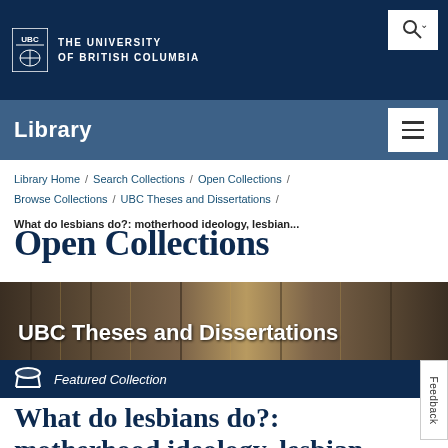THE UNIVERSITY OF BRITISH COLUMBIA
Library
Library Home / Search Collections / Open Collections / Browse Collections / UBC Theses and Dissertations /
What do lesbians do?: motherhood ideology, lesbian...
Open Collections
[Figure (photo): Banner image showing library shelving/stacks with text overlay 'UBC Theses and Dissertations']
Featured Collection
What do lesbians do?: motherhood ideology, lesbian